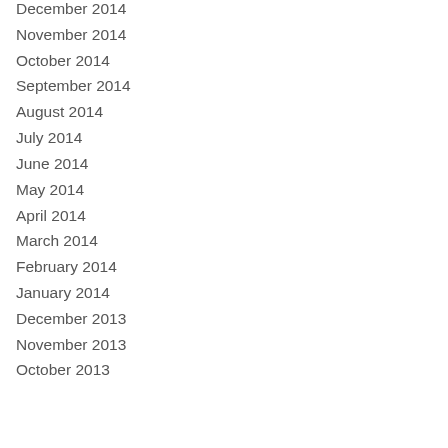December 2014
November 2014
October 2014
September 2014
August 2014
July 2014
June 2014
May 2014
April 2014
March 2014
February 2014
January 2014
December 2013
November 2013
October 2013